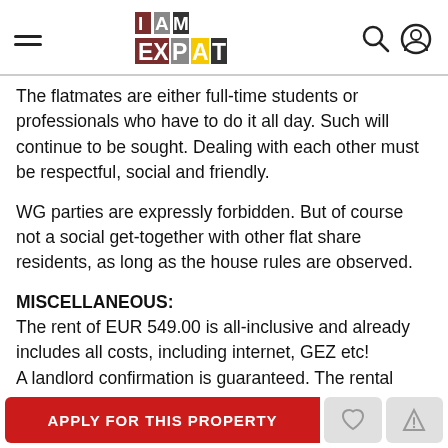I AM EXPAT [logo with navigation icons]
The flatmates are either full-time students or professionals who have to do it all day. Such will continue to be sought. Dealing with each other must be respectful, social and friendly.
WG parties are expressly forbidden. But of course not a social get-together with other flat share residents, as long as the house rules are observed.
MISCELLANEOUS:
The rent of EUR 549.00 is all-inclusive and already includes all costs, including internet, GEZ etc! A landlord confirmation is guaranteed. The rental period is ideally a 3 months. Maximum Out: 8 months...
APPLY FOR THIS PROPERTY